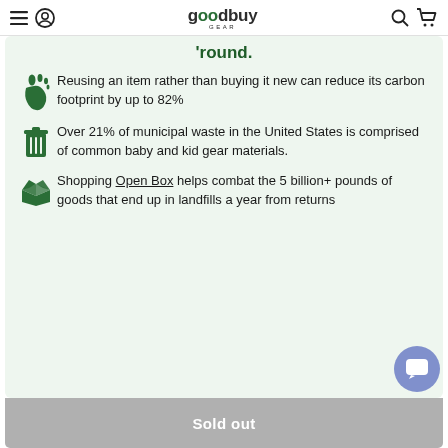goodbuy GEAR — navigation bar with menu, account, search, cart icons
'round.
Reusing an item rather than buying it new can reduce its carbon footprint by up to 82%
Over 21% of municipal waste in the United States is comprised of common baby and kid gear materials.
Shopping Open Box helps combat the 5 billion+ pounds of goods that end up in landfills a year from returns
Sold out